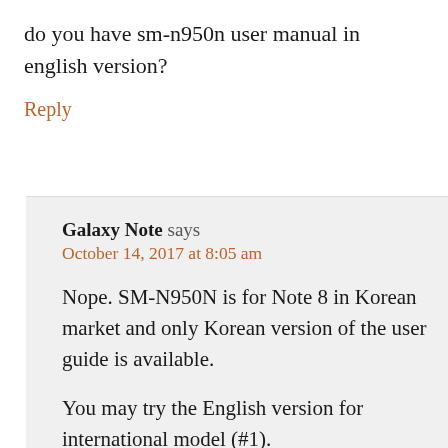do you have sm-n950n user manual in english version?
Reply
Galaxy Note says
October 14, 2017 at 8:05 am
Nope. SM-N950N is for Note 8 in Korean market and only Korean version of the user guide is available.
You may try the English version for international model (#1).